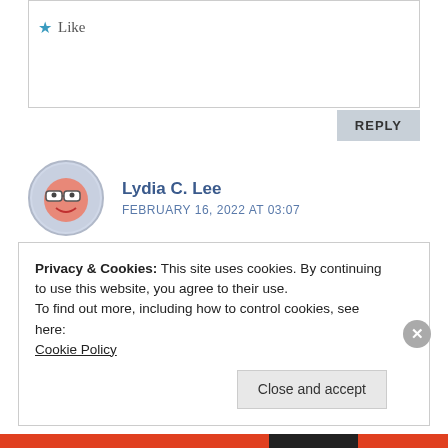★ Like
REPLY
Lydia C. Lee
FEBRUARY 16, 2022 AT 03:07
Lovely painting and gorgeous flowers.
★ Like
Privacy & Cookies: This site uses cookies. By continuing to use this website, you agree to their use.
To find out more, including how to control cookies, see here: Cookie Policy
Close and accept